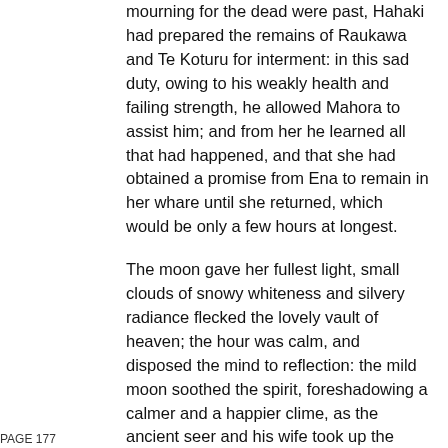mourning for the dead were past, Hahaki had prepared the remains of Raukawa and Te Koturu for interment: in this sad duty, owing to his weakly health and failing strength, he allowed Mahora to assist him; and from her he learned all that had happened, and that she had obtained a promise from Ena to remain in her whare until she returned, which would be only a few hours at longest.
The moon gave her fullest light, small clouds of snowy whiteness and silvery radiance flecked the lovely vault of heaven; the hour was calm, and disposed the mind to reflection: the mild moon soothed the spirit, foreshadowing a calmer and a happier clime, as the ancient seer and his wife took up the prepared remains
PAGE 177